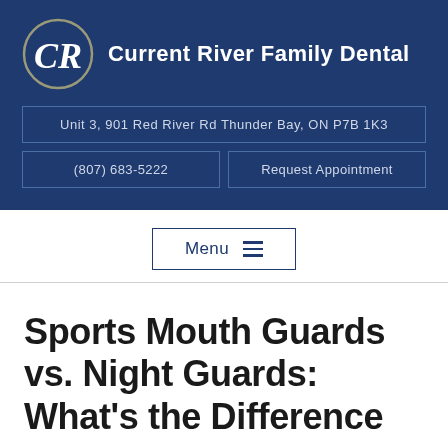Current River Family Dental
Unit 3, 901 Red River Rd Thunder Bay, ON P7B 1K3
(807) 683-5222
Request Appointment
Menu
Sports Mouth Guards vs. Night Guards: What’s the Difference